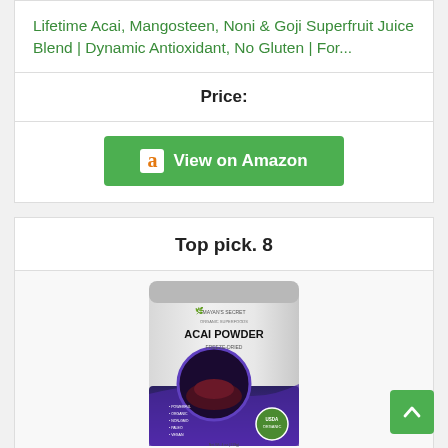Lifetime Acai, Mangosteen, Noni & Goji Superfruit Juice Blend | Dynamic Antioxidant, No Gluten | For...
Price:
[Figure (other): Green 'View on Amazon' button with Amazon 'a' logo icon]
Top pick. 8
[Figure (photo): Mayan's Secret Organic Superfoods Acai Powder Freeze-Dried product bag with USDA Organic seal]